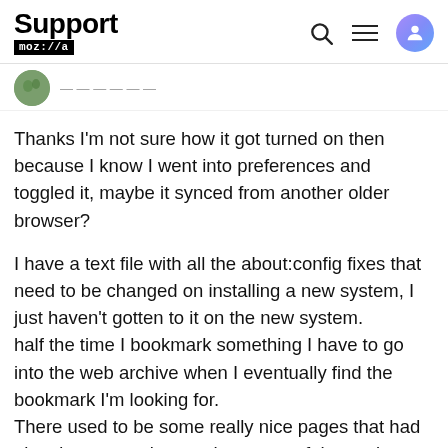Support mozilla//a
Thanks I'm not sure how it got turned on then because I know I went into preferences and toggled it, maybe it synced from another older browser?
I have a text file with all the about:config fixes that need to be changed on installing a new system, I just haven't gotten to it on the new system.
half the time I bookmark something I have to go into the web archive when I eventually find the bookmark I'm looking for.
There used to be some really nice pages that had nice documentation to what some of the settings did and their respective options, but they don't show up when searching for a string or setting. So I'm left with scrolling the Internet for interpreted articles that don't